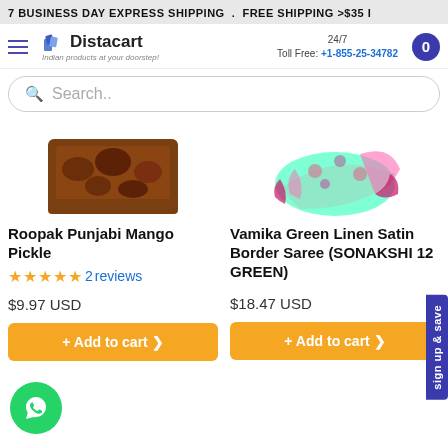7 BUSINESS DAY EXPRESS SHIPPING . FREE SHIPPING >$35 IN
Distacart - Indian products at your doorstep! 24/7 Toll Free: +1-855-25-34782
Search..
[Figure (photo): Product image of Roopak Punjabi Mango Pickle - brown chunky pickle in tray]
[Figure (photo): Product image of Vamika Green Linen Satin Border Saree - green floral fabric with pink border]
Roopak Punjabi Mango Pickle
★★★★★ 2 reviews
$9.97 USD
+ Add to cart ❯
Vamika Green Linen Satin Border Saree (SONAKSHI 12 GREEN)
$18.47 USD
+ Add to cart ❯
sign up & save